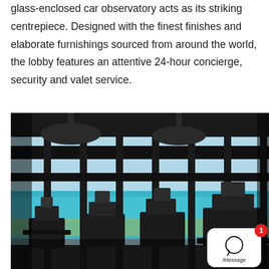glass-enclosed car observatory acts as its striking centrepiece. Designed with the finest finishes and elaborate furnishings sourced from around the world, the lobby features an attentive 24-hour concierge, security and valet service.
[Figure (photo): Interior photo of a luxury high-rise gym/fitness center with floor-to-ceiling windows overlooking a turquoise ocean and beach. Modern exercise equipment including treadmills and cardio machines are visible in silhouette against the bright ocean view. A notification overlay from iMessage (badge showing '1') appears in the bottom-right corner of the image.]